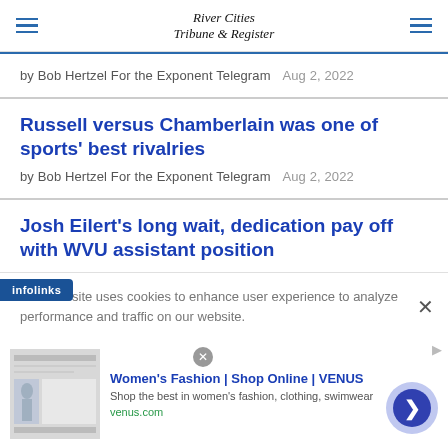River Cities Tribune & Register
by Bob Hertzel For the Exponent Telegram  Aug 2, 2022
Russell versus Chamberlain was one of sports' best rivalries
by Bob Hertzel For the Exponent Telegram  Aug 2, 2022
Josh Eilert's long wait, dedication pay off with WVU assistant position
This website uses cookies to enhance user experience to analyze performance and traffic on our website.
[Figure (screenshot): Infolinks ad badge (blue) and Women's Fashion | Shop Online | VENUS advertisement banner with image, title, subtitle and venus.com domain, with a purple arrow button.]